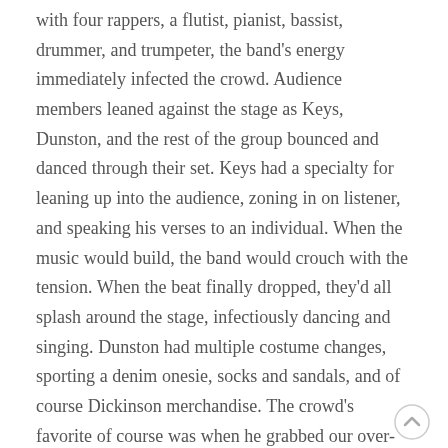with four rappers, a flutist, pianist, bassist, drummer, and trumpeter, the band's energy immediately infected the crowd. Audience members leaned against the stage as Keys, Dunston, and the rest of the group bounced and danced through their set. Keys had a specialty for leaning up into the audience, zoning in on listener, and speaking his verses to an individual. When the music would build, the band would crouch with the tension. When the beat finally dropped, they'd all splash around the stage, infectiously dancing and singing. Dunston had multiple costume changes, sporting a denim onesie, socks and sandals, and of course Dickinson merchandise. The crowd's favorite of course was when he grabbed our over-sized WDCV canvas poster and wrapped it around himself like a cape. Whoever sang the next verse had the honor of wrapping the sign around themselves, all the while grooving with the upbeat music. Throughout the one hour